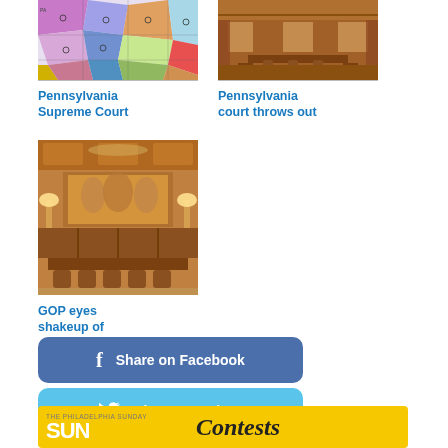[Figure (map): Pennsylvania congressional districts map with colored regions]
Pennsylvania Supreme Court
[Figure (photo): Pennsylvania court interior - ornate wooden furniture and chandelier]
Pennsylvania court throws out
[Figure (photo): Pennsylvania court chamber interior with elaborate wooden decor, lamps, and chandeliers]
GOP eyes shakeup of
[Figure (other): Share on Facebook button - dark blue rounded rectangle with Facebook icon]
[Figure (other): Share on Twitter button - light blue rounded rectangle with Twitter bird icon]
[Figure (other): The Philadelphia Sunday SUN newspaper banner with Contests text on yellow background]